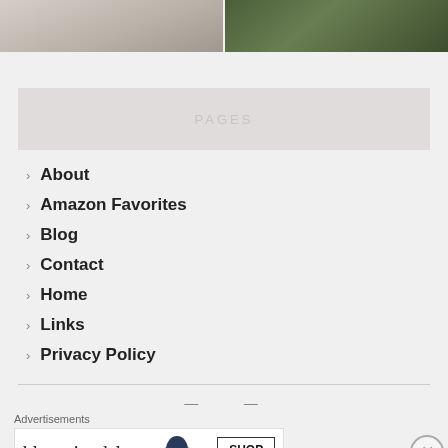[Figure (photo): Two side-by-side cropped photos at top: left shows light-colored knit fabric/blanket, right shows green eucalyptus leaves on a wooden surface]
PAGES
About
Amazon Favorites
Blog
Contact
Home
Links
Privacy Policy
Advertisements
[Figure (screenshot): Bloomingdale's advertisement banner: bloomingdales logo, 'View Today's Top Deals!' with a woman in a large hat, and 'SHOP NOW >' button]